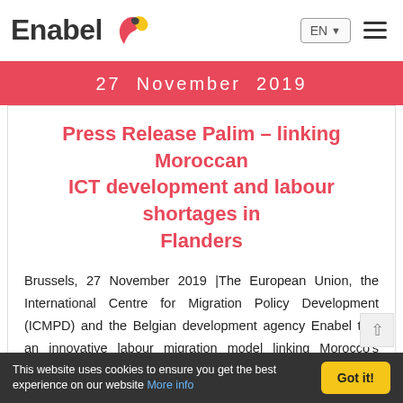Enabel | EN | navigation menu
27  November  2019
Press Release Palim – linking Moroccan ICT development and labour shortages in Flanders
Brussels, 27 November 2019 |The European Union, the International Centre for Migration Policy Development (ICMPD) and the Belgian development agency Enabel test an innovative labour migration model linking Morocco's growing ICT sector with Flanders' qualified ICT workers shortages.
This website uses cookies to ensure you get the best experience on our website More info | Got it!